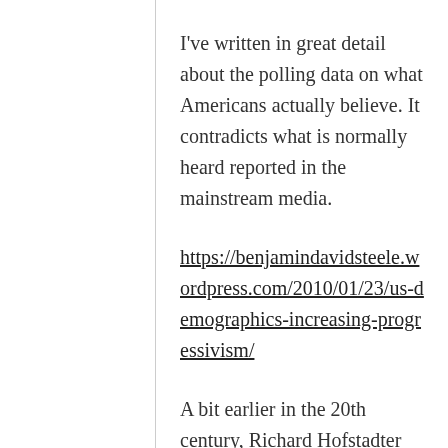I've written in great detail about the polling data on what Americans actually believe. It contradicts what is normally heard reported in the mainstream media.
https://benjamindavidsteele.wordpress.com/2010/01/23/us-demographics-increasing-progressivism/
A bit earlier in the 20th century, Richard Hofstadter discussed many of the problems he perceived with the common man: anti-intellectualism, the